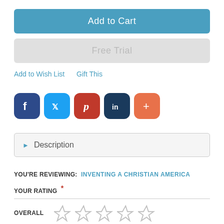Add to Cart
Free Trial
Add to Wish List    Gift This
[Figure (infographic): Social sharing icons: Facebook (dark blue), Twitter (blue), Pinterest (red), LinkedIn (dark navy), More/Plus (orange)]
Description
YOU'RE REVIEWING: INVENTING A CHRISTIAN AMERICA
YOUR RATING *
OVERALL ☆☆☆☆☆